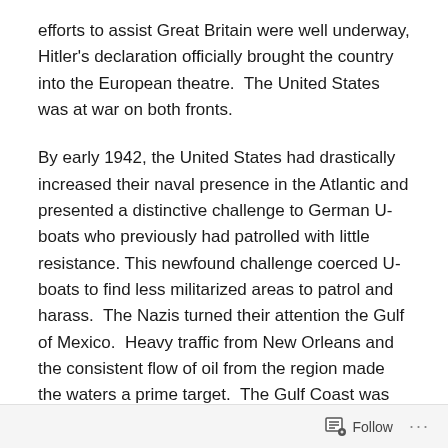efforts to assist Great Britain were well underway, Hitler's declaration officially brought the country into the European theatre.  The United States was at war on both fronts.
By early 1942, the United States had drastically increased their naval presence in the Atlantic and presented a distinctive challenge to German U-boats who previously had patrolled with little resistance. This newfound challenge coerced U-boats to find less militarized areas to patrol and harass.  The Nazis turned their attention the Gulf of Mexico.  Heavy traffic from New Orleans and the consistent flow of oil from the region made the waters a prime target.  The Gulf Coast was unprepared to defend against Nazi submarine attacks.  The Nazis felt they could significantly undermine the American war effort if they
Follow